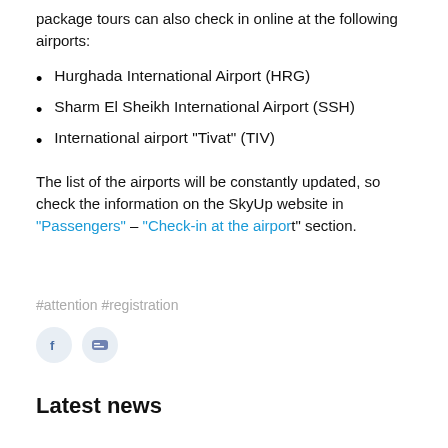package tours can also check in online at the following airports:
Hurghada International Airport (HRG)
Sharm El Sheikh International Airport (SSH)
International airport “Tivat” (TIV)
The list of the airports will be constantly updated, so check the information on the SkyUp website in “Passengers” – “Check-in at the airport” section.
#attention #registration
Latest news